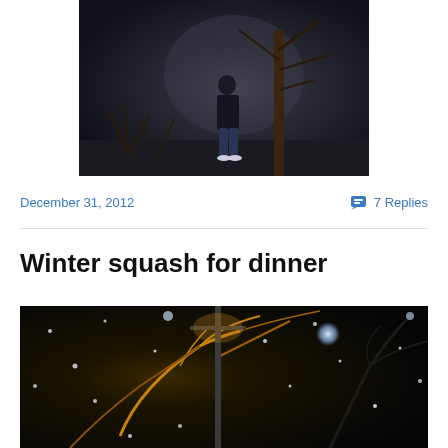[Figure (photo): Night photograph of a person standing in front of bare trees in a dark misty outdoor setting]
December 31, 2012
💬 7 Replies
Winter squash for dinner
[Figure (photo): Night photograph of snow falling in front of illuminated tree branches with golden/yellow light streaks and bokeh light orbs]